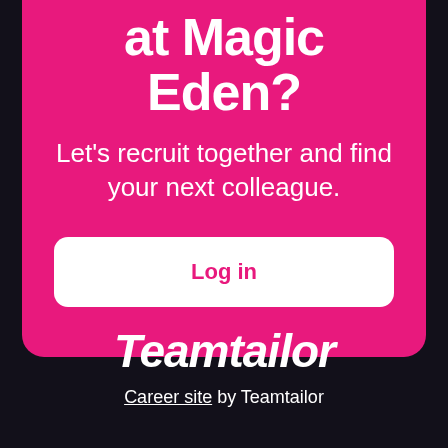at Magic Eden?
Let’s recruit together and find your next colleague.
Log in
[Figure (logo): Teamtailor logo in italic script white text]
Career site by Teamtailor